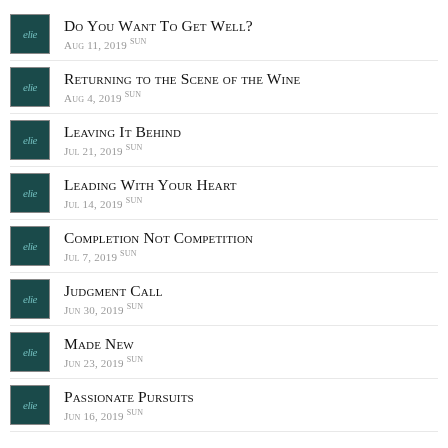Do You Want To Get Well? — Aug 11, 2019 Sun
Returning to the Scene of the Wine — Aug 4, 2019 Sun
Leaving It Behind — Jul 21, 2019 Sun
Leading With Your Heart — Jul 14, 2019 Sun
Completion Not Competition — Jul 7, 2019 Sun
Judgment Call — Jun 30, 2019 Sun
Made New — Jun 23, 2019 Sun
Passionate Pursuits — Jun 16, 2019 Sun
Out With The Old, In With The New